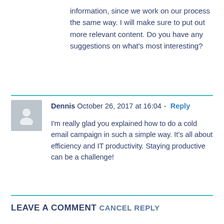information, since we work on our process the same way. I will make sure to put out more relevant content. Do you have any suggestions on what's most interesting?
Dennis  October 26, 2017 at 16:04 - Reply
I'm really glad you explained how to do a cold email campaign in such a simple way. It's all about efficiency and IT productivity. Staying productive can be a challenge!
LEAVE A COMMENT  CANCEL REPLY